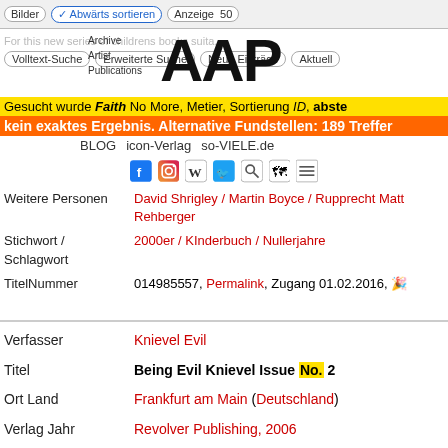[Figure (screenshot): Top navigation bar with Bilder, Abwärts sortieren, Anzeige 50 controls and search interface with Volltext-Suche, Erweiterte Suche, Neue Einträge, Aktuell buttons]
[Figure (logo): AAP Archive Artist Publications logo overlaid on top navigation]
Gesucht wurde Faith No More, Metier, Sortierung ID, absteigend
kein exaktes Ergebnis. Alternative Fundstellen: 189 Treffer
BLOG  icon-Verlag  so-VIELE.de
[Figure (infographic): Social media icons: Facebook, Instagram, Wikipedia, Twitter, search icon, maps icon, and hamburger menu]
Weitere Personen  David Shrigley / Martin Boyce / Rupprecht Matthies / Rehberger
Stichwort / Schlagwort  2000er / KInderbuch / Nullerjahre
TitelNummer  014985557, Permalink, Zugang 01.02.2016
Verfasser  Knievel Evil
Titel  Being Evil Knievel Issue No. 2
Ort Land  Frankfurt am Main (Deutschland)
Verlag Jahr  Revolver Publishing, 2006
Medium  Zeitschrift, Magazin
Techn. Angaben  36 S., 21x14,8 cm, ISBN/ISSN 978-3-86588255, Drahtheftung